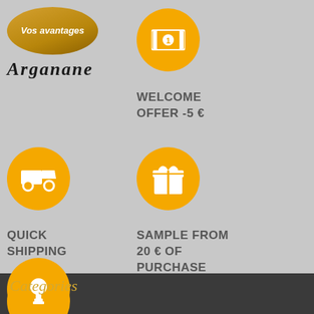[Figure (logo): Arganane brand logo with oval badge saying 'Vos avantages' and brand name in italic serif font]
[Figure (illustration): Orange circle with white money/cash icon - Welcome Offer]
WELCOME OFFER -5 €
[Figure (illustration): Orange circle with white delivery truck icon - Quick Shipping]
QUICK SHIPPING
[Figure (illustration): Orange circle with white gift box icon - Sample from 20 euros of purchase]
SAMPLE FROM 20 € OF PURCHASE
[Figure (illustration): Orange circle with white trophy icon - Your Loyalty Rewarded]
YOUR LOYALTY REWARDED
Categories